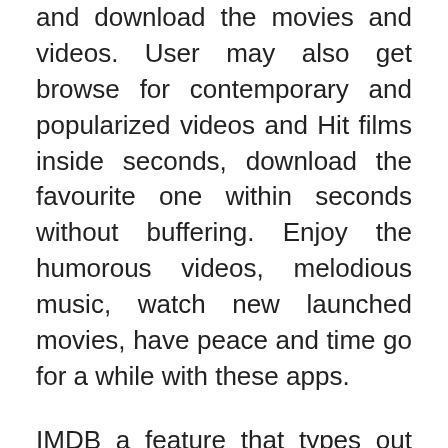and download the movies and videos. User may also get browse for contemporary and popularized videos and Hit films inside seconds, download the favourite one within seconds without buffering. Enjoy the humorous videos, melodious music, watch new launched movies, have peace and time go for a while with these apps.
IMDB a feature that types out motion pictures and TV Reveals in response to the score they've on the popular site that quite a lot of users know of and infrequently use as a reference when selecting a movie or series to observe